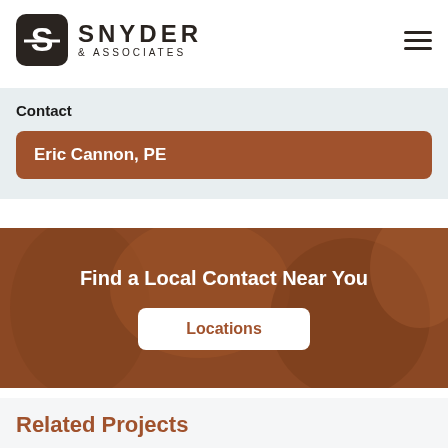[Figure (logo): Snyder & Associates logo with stylized S icon and company name]
Contact
Eric Cannon, PE
[Figure (infographic): Find a Local Contact Near You banner with Locations button, brown background with blurred background image]
Related Projects
[Figure (photo): Photo of a road through autumn trees]